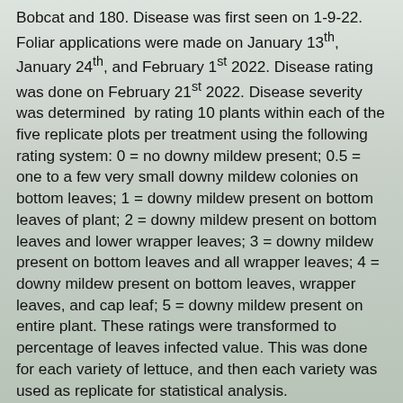Bobcat and 180. Disease was first seen on 1-9-22. Foliar applications were made on January 13th, January 24th, and February 1st 2022. Disease rating was done on February 21st 2022. Disease severity was determined by rating 10 plants within each of the five replicate plots per treatment using the following rating system: 0 = no downy mildew present; 0.5 = one to a few very small downy mildew colonies on bottom leaves; 1 = downy mildew present on bottom leaves of plant; 2 = downy mildew present on bottom leaves and lower wrapper leaves; 3 = downy mildew present on bottom leaves and all wrapper leaves; 4 = downy mildew present on bottom leaves, wrapper leaves, and cap leaf; 5 = downy mildew present on entire plant. These ratings were transformed to percentage of leaves infected value. This was done for each variety of lettuce, and then each variety was used as replicate for statistical analysis. The data in the table illustrate the degree of disease control obtained by application of the various treatments